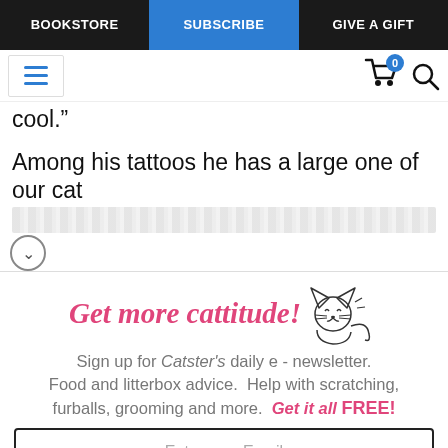BOOKSTORE | SUBSCRIBE | GIVE A GIFT
cool."
Among his tattoos he has a large one of our cat
[Figure (infographic): Newsletter signup popup with cat illustration. Headline: 'Get more cattitude!' with a cartoon cat drawing. Body text: 'Sign up for Catster's daily e - newsletter. Food and litterbox advice. Help with scratching, furballs, grooming and more. Get it all FREE!' Email input field and red 'YES! SIGN ME UP' button.]